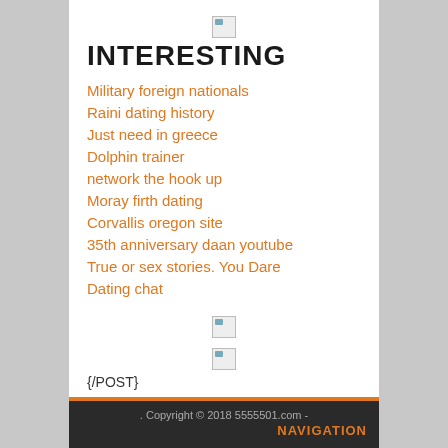[Figure (illustration): Broken image placeholder icon, small]
INTERESTING
Military foreign nationals
Raini dating history
Just need in greece
Dolphin trainer
network the hook up
Moray firth dating
Corvallis oregon site
35th anniversary daan youtube
True or sex stories. You Dare
Dating chat
[Figure (illustration): Broken image placeholder icon, small]
[Figure (illustration): Broken image placeholder icon, small]
{/POST}
. Copyright © 2018 5555501.com - NAVIGATION